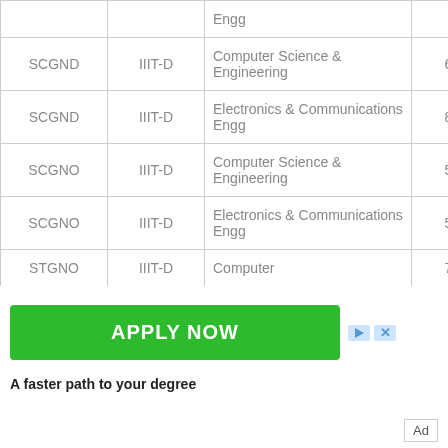| Category | Institute | Branch | Score |
| --- | --- | --- | --- |
|  |  | Engg |  |
| SCGND | IIIT-D | Computer Science & Engineering | 6020 |
| SCGND | IIIT-D | Electronics & Communications Engg | 8027 |
| SCGNO | IIIT-D | Computer Science & Engineering | 5240 |
| SCGNO | IIIT-D | Electronics & Communications Engg | 5280 |
| STGNO | IIIT-D | Computer | 7559 |
[Figure (other): Green 'APPLY NOW' advertisement banner with close/skip icons]
A faster path to your degree
Ad